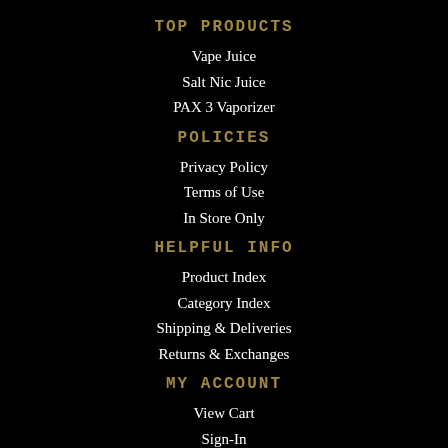TOP PRODUCTS
Vape Juice
Salt Nic Juice
PAX 3 Vaporizer
POLICIES
Privacy Policy
Terms of Use
In Store Only
HELPFUL INFO
Product Index
Category Index
Shipping & Deliveries
Returns & Exchanges
MY ACCOUNT
View Cart
Sign-In